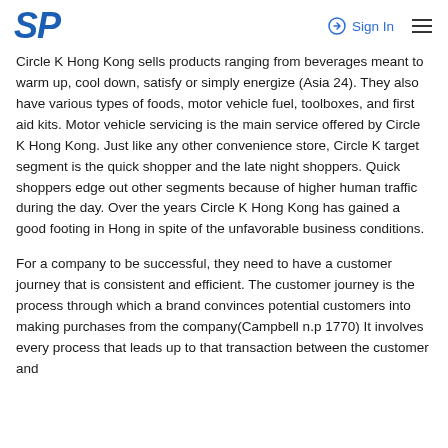SP | Sign In
Circle K Hong Kong sells products ranging from beverages meant to warm up, cool down, satisfy or simply energize (Asia 24). They also have various types of foods, motor vehicle fuel, toolboxes, and first aid kits. Motor vehicle servicing is the main service offered by Circle K Hong Kong. Just like any other convenience store, Circle K target segment is the quick shopper and the late night shoppers. Quick shoppers edge out other segments because of higher human traffic during the day. Over the years Circle K Hong Kong has gained a good footing in Hong in spite of the unfavorable business conditions.
For a company to be successful, they need to have a customer journey that is consistent and efficient. The customer journey is the process through which a brand convinces potential customers into making purchases from the company(Campbell n.p 1770) It involves every process that leads up to that transaction between the customer and